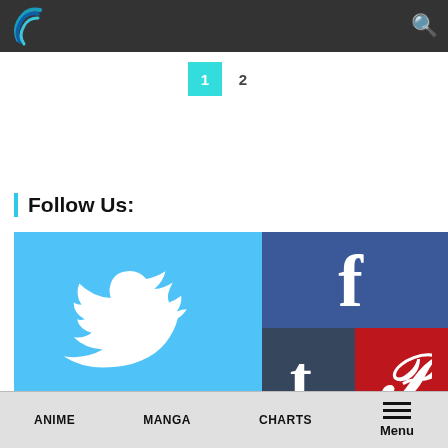[Figure (logo): Anime/manga website logo — circular swirl design in blue and teal on dark bar]
Navigation bar with logo and search icon
1  2
Follow Us:
[Figure (infographic): Social media follow buttons grid: Twitter (light blue, bird icon), Facebook (dark blue, f icon), Tumblr (dark slate, t icon), Pinterest (red, P icon)]
ANIME   MANGA   CHARTS   Menu